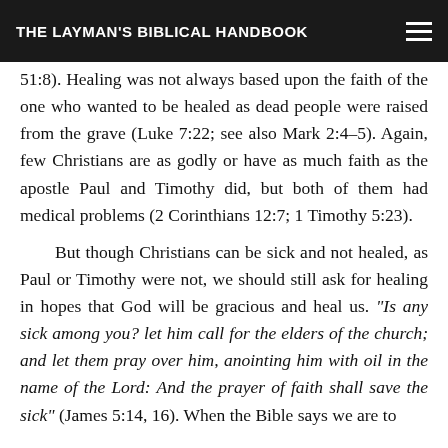THE LAYMAN'S BIBLICAL HANDBOOK
51:8). Healing was not always based upon the faith of the one who wanted to be healed as dead people were raised from the grave (Luke 7:22; see also Mark 2:4–5). Again, few Christians are as godly or have as much faith as the apostle Paul and Timothy did, but both of them had medical problems (2 Corinthians 12:7; 1 Timothy 5:23).
But though Christians can be sick and not healed, as Paul or Timothy were not, we should still ask for healing in hopes that God will be gracious and heal us. “Is any sick among you? let him call for the elders of the church; and let them pray over him, anointing him with oil in the name of the Lord: And the prayer of faith shall save the sick” (James 5:14, 16). When the Bible says we are to